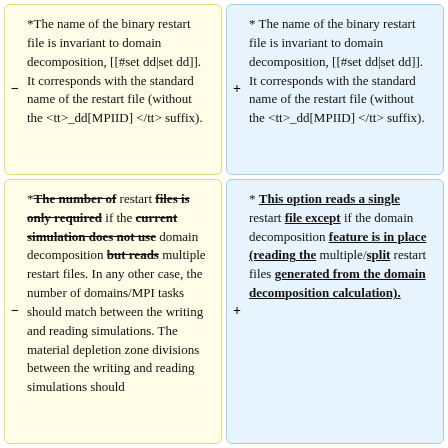*The name of the binary restart file is invariant to domain decomposition, [[#set dd|set dd]]. It corresponds with the standard name of the restart file (without the <tt>_dd[MPIID]</tt> suffix).
* The name of the binary restart file is invariant to domain decomposition, [[#set dd|set dd]]. It corresponds with the standard name of the restart file (without the <tt>_dd[MPIID]</tt> suffix).
*The number of restart files is only required if the current simulation does not use domain decomposition but reads multiple restart files. In any other case, the number of domains/MPI tasks should match between the writing and reading simulations. The material depletion zone divisions between the writing and reading simulations should
* This option reads a single restart file except if the domain decomposition feature is in place (reading the multiple/split restart files generated from the domain decomposition calculation).